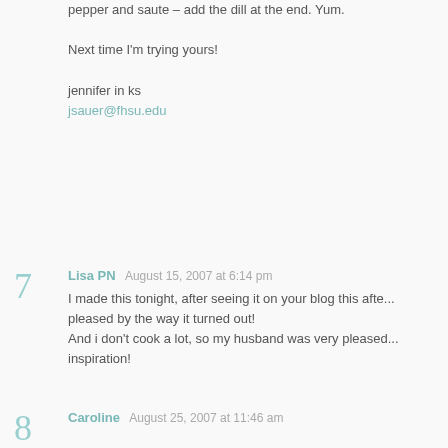pepper and saute – add the dill at the end. Yum.

Next time I'm trying yours!

jennifer in ks
jsauer@fhsu.edu
7  Lisa PN  August 15, 2007 at 6:14 pm
I made this tonight, after seeing it on your blog this afte... pleased by the way it turned out!
And i don't cook a lot, so my husband was very pleased... inspiration!
8  Caroline  August 25, 2007 at 11:46 am
yum, yummy, yummy…I never comment but look at you... love it!
Leave a comment